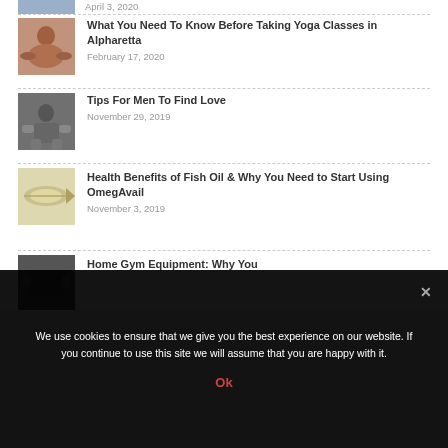[Figure (photo): Thumbnail image for yoga article - person sitting cross-legged]
What You Need To Know Before Taking Yoga Classes in Alpharetta
February 17, 2020
[Figure (photo): Thumbnail image for men article - man sitting]
Tips For Men To Find Love
November 29, 2019
[Figure (photo): Thumbnail image for fish oil article - fish oil bottle/capsule]
Health Benefits of Fish Oil & Why You Need to Start Using OmegAvail
November 3, 2019
[Figure (photo): Thumbnail image for home gym article]
Home Gym Equipment: Why You
We use cookies to ensure that we give you the best experience on our website. If you continue to use this site we will assume that you are happy with it.
Ok